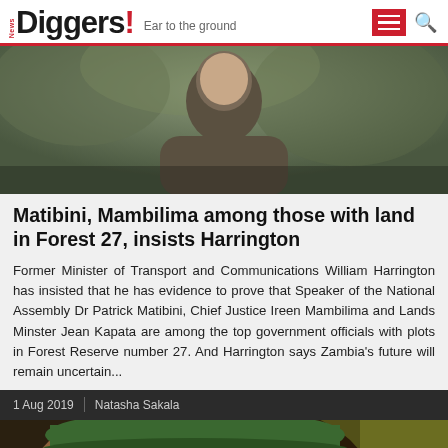News Diggers! Ear to the ground
[Figure (photo): Photo of a man outdoors, wearing a dark polo shirt, with green foliage in the background]
Matibini, Mambilima among those with land in Forest 27, insists Harrington
Former Minister of Transport and Communications William Harrington has insisted that he has evidence to prove that Speaker of the National Assembly Dr Patrick Matibini, Chief Justice Ireen Mambilima and Lands Minster Jean Kapata are among the top government officials with plots in Forest Reserve number 27. And Harrington says Zambia's future will remain uncertain...
1 Aug 2019 | Natasha Sakala
[Figure (photo): Close-up photo of a man wearing a green cap, looking directly at camera]